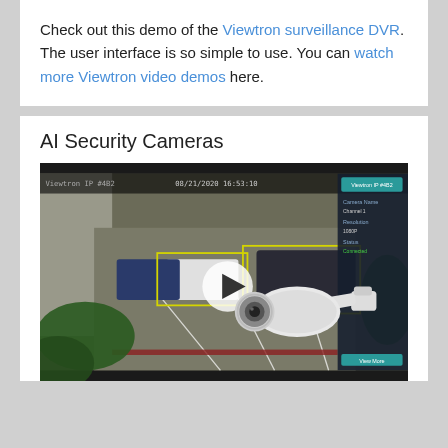Check out this demo of the Viewtron surveillance DVR. The user interface is so simple to use. You can watch more Viewtron video demos here.
AI Security Cameras
[Figure (screenshot): Video thumbnail of a security camera feed showing a parking lot with vehicles, yellow bounding boxes highlighting cars, a play button in the center, a panel on the right side with camera info, and a white bullet security camera overlaid in the bottom right corner. Timestamp 08/21/2020 16:53:10 visible in upper area.]